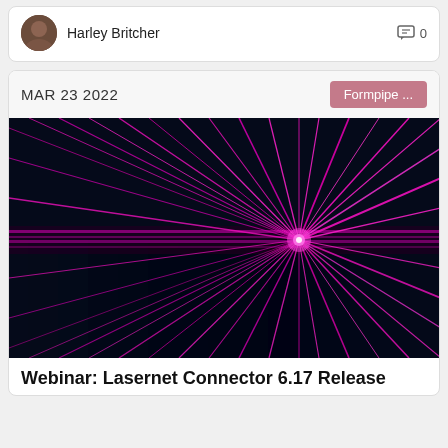Harley Britcher  0
MAR 23 2022
Formpipe ...
[Figure (photo): Abstract laser light burst image with pink/magenta rays emanating from a central point on a dark navy background, reflected horizontally across a mirror-like surface.]
Webinar: Lasernet Connector 6.17 Release